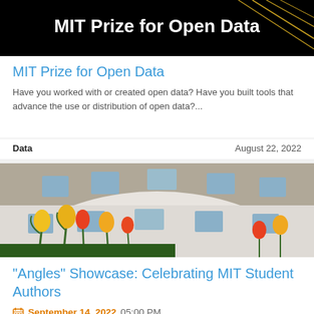[Figure (photo): Black banner with white bold text 'MIT Prize for Open Data' and decorative yellow/gold geometric lines on right side]
MIT Prize for Open Data
Have you worked with or created open data? Have you built tools that advance the use or distribution of open data?...
Data | August 22, 2022
[Figure (photo): Low-angle photo of a curved white building exterior with yellow, orange, and red tulips in the foreground, multiple windows visible]
“Angles” Showcase: Celebrating MIT Student Authors
September 14, 2022  05:00 PM